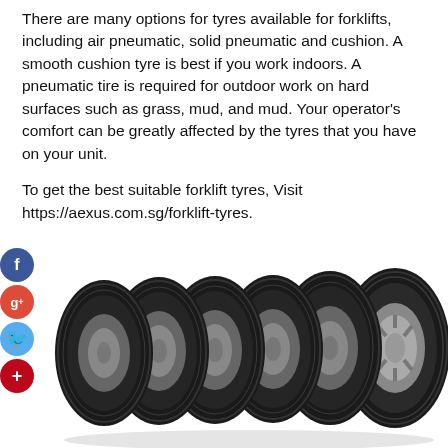There are many options for tyres available for forklifts, including air pneumatic, solid pneumatic and cushion. A smooth cushion tyre is best if you work indoors. A pneumatic tire is required for outdoor work on hard surfaces such as grass, mud, and mud. Your operator's comfort can be greatly affected by the tyres that you have on your unit.
To get the best suitable forklift tyres, Visit https://aexus.com.sg/forklift-tyres.
[Figure (illustration): Six car/forklift tyres arranged in a row, leaning slightly, showing tread patterns and alloy wheels, on a white background. Social media share buttons (Facebook, Google+, Twitter, Pinterest) shown on the left side.]